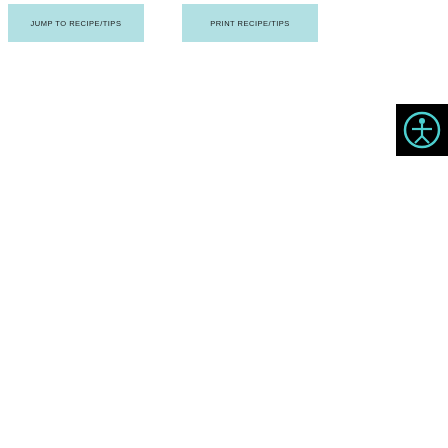JUMP TO RECIPE/TIPS
PRINT RECIPE/TIPS
[Figure (illustration): Accessibility widget icon — black square background with a teal circle containing a human figure with arms outstretched (universal accessibility symbol)]